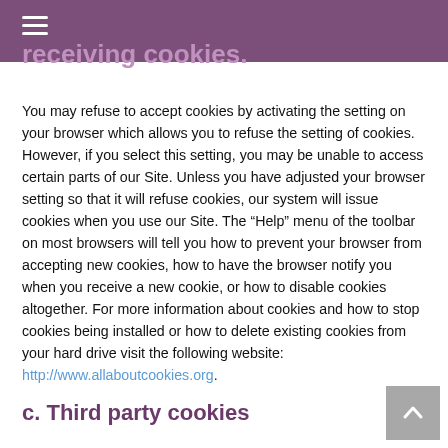receiving cookies.
You may refuse to accept cookies by activating the setting on your browser which allows you to refuse the setting of cookies. However, if you select this setting, you may be unable to access certain parts of our Site. Unless you have adjusted your browser setting so that it will refuse cookies, our system will issue cookies when you use our Site. The “Help” menu of the toolbar on most browsers will tell you how to prevent your browser from accepting new cookies, how to have the browser notify you when you receive a new cookie, or how to disable cookies altogether. For more information about cookies and how to stop cookies being installed or how to delete existing cookies from your hard drive visit the following website: http://www.allaboutcookies.org.
c. Third party cookies